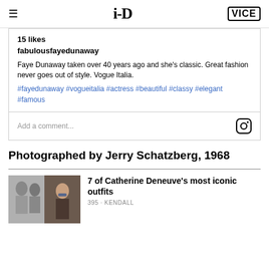i-D | VICE
15 likes
fabulousfayedunaway
Faye Dunaway taken over 40 years ago and she's classic. Great fashion never goes out of style. Vogue Italia. #fayedunaway #vogueitalia #actress #beautiful #classy #elegant #famous
Add a comment...
Photographed by Jerry Schatzberg, 1968
[Figure (photo): Thumbnail showing two women, black and white and color photo composite]
7 of Catherine Deneuve's most iconic outfits
395 · KENDALL